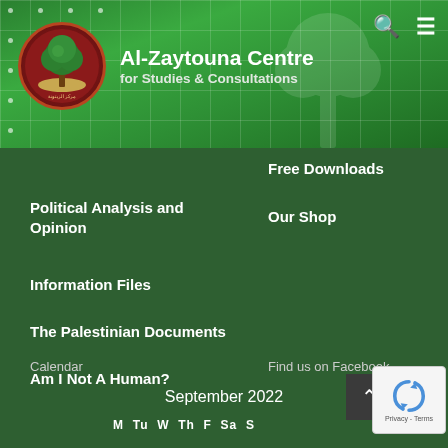[Figure (logo): Al-Zaytouna Centre logo: circular emblem with green tree on red/maroon background with Arabic text]
Al-Zaytouna Centre
for Studies & Consultations
Free Downloads
Political Analysis and Opinion
Our Shop
Information Files
The Palestinian Documents
Am I Not A Human?
Calendar
Find us on Facebook
September 2022
M  Tu  W  Th  F  Sa  S